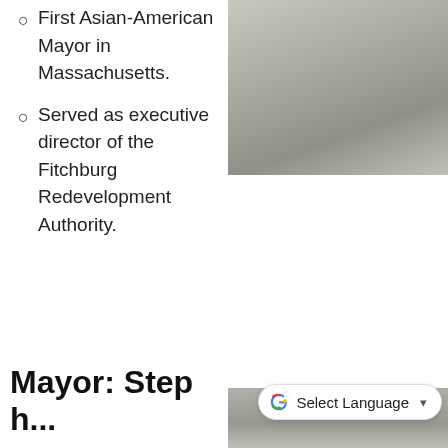[Figure (photo): Partial photo of a person in a light-colored suit jacket, upper body, cropped]
First Asian-American Mayor in Massachusetts.
Served as executive director of the Fitchburg Redevelopment Authority.
Mayor: Step
[Figure (photo): Partial photo at bottom right, light colored background, cropped]
Select Language